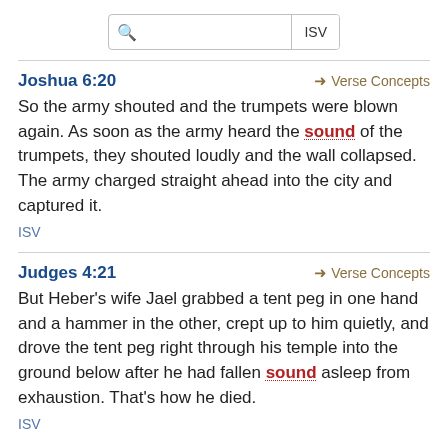Search ISV
Joshua 6:20
So the army shouted and the trumpets were blown again. As soon as the army heard the sound of the trumpets, they shouted loudly and the wall collapsed. The army charged straight ahead into the city and captured it.
ISV
Judges 4:21
But Heber's wife Jael grabbed a tent peg in one hand and a hammer in the other, crept up to him quietly, and drove the tent peg right through his temple into the ground below after he had fallen sound asleep from exhaustion. That's how he died.
ISV